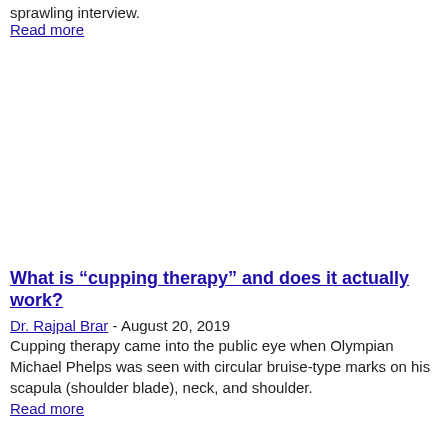sprawling interview.
Read more
What is “cupping therapy” and does it actually work?
Dr. Rajpal Brar - August 20, 2019
Cupping therapy came into the public eye when Olympian Michael Phelps was seen with circular bruise-type marks on his scapula (shoulder blade), neck, and shoulder.
Read more